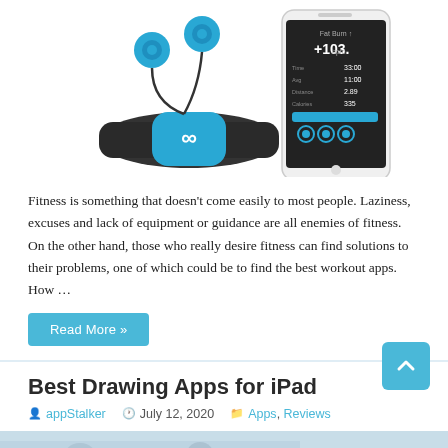[Figure (photo): Blue wireless earbuds and a black fitness heart rate monitor band with blue infinity logo, shown next to a white smartphone displaying a fitness tracking app with metrics.]
Fitness is something that doesn't come easily to most people. Laziness, excuses and lack of equipment or guidance are all enemies of fitness. On the other hand, those who really desire fitness can find solutions to their problems, one of which could be to find the best workout apps. How …
Read More »
Best Drawing Apps for iPad
appStalker   July 12, 2020   Apps, Reviews
[Figure (photo): Partial bottom strip showing beginning of an image related to drawing apps for iPad.]